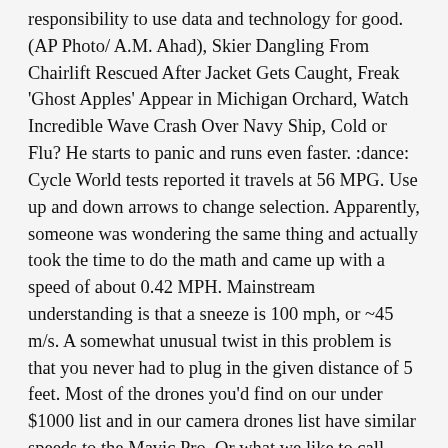responsibility to use data and technology for good. (AP Photo/ A.M. Ahad), Skier Dangling From Chairlift Rescued After Jacket Gets Caught, Freak 'Ghost Apples' Appear in Michigan Orchard, Watch Incredible Wave Crash Over Navy Ship, Cold or Flu? He starts to panic and runs even faster. :dance: Cycle World tests reported it travels at 56 MPG. Use up and down arrows to change selection. Apparently, someone was wondering the same thing and actually took the time to do the math and came up with a speed of about 0.42 MPH. Mainstream understanding is that a sneeze is 100 mph, or ~45 m/s. A somewhat unusual twist in this problem is that you never had to plug in the given distance of 5 feet. Most of the drones you'd find on our under $1000 list and in our camera drones list have similar speeds to the Mavic Pro. Or what we like to call Crotch Rockets. Miles "Tails" Prower. Also not an extreme rider. It does deliver on mileage, though. The article states that in 1992 all 1100 Shadows had the more restrictive California emissions equipment on them. If it's an indicated 70 mph then it's in reality about 65 or so. The vibration increases as my speed increases. An